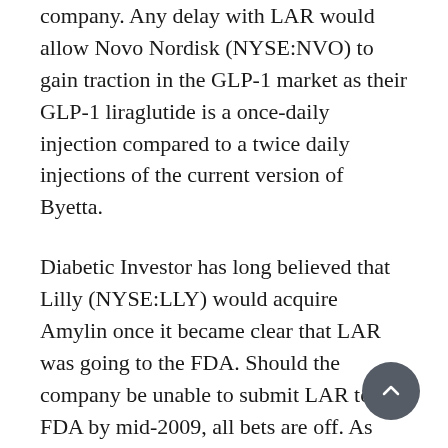company. Any delay with LAR would allow Novo Nordisk (NYSE:NVO) to gain traction in the GLP-1 market as their GLP-1 liraglutide is a once-daily injection compared to a twice daily injections of the current version of Byetta.
Diabetic Investor has long believed that Lilly (NYSE:LLY) would acquire Amylin once it became clear that LAR was going to the FDA. Should the company be unable to submit LAR to the FDA by mid-2009, all bets are off. As powerful as LAR is the market dynamics will change dramatically with any delay.